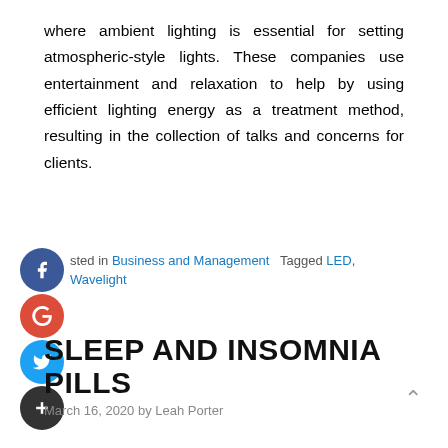where ambient lighting is essential for setting atmospheric-style lights. These companies use entertainment and relaxation to help by using efficient lighting energy as a treatment method, resulting in the collection of talks and concerns for clients.
Posted in Business and Management   Tagged LED, Wavelight
SLEEP AND INSOMNIA PILLS
March 16, 2020 by Leah Porter